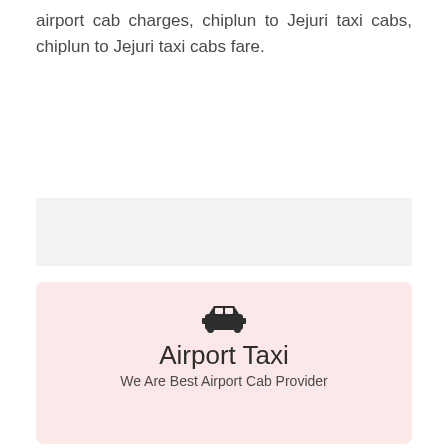airport cab charges, chiplun to Jejuri taxi cabs, chiplun to Jejuri taxi cabs fare.
[Figure (other): Gray placeholder bar]
[Figure (infographic): Airport Taxi card with car icon, title 'Airport Taxi', subtitle 'We Are Best Airport Cab Provider']
[Figure (infographic): Cab Charges card with thumbs up icon, title 'Cab Charges', subtitle 'We Provide Cheap Rate Taxi']